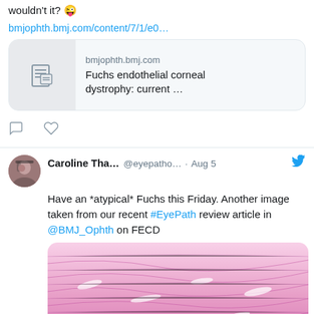wouldn't it? 😜
bmjophth.bmj.com/content/7/1/e0…
[Figure (screenshot): Link preview card for bmjophth.bmj.com showing article 'Fuchs endothelial corneal dystrophy: current …']
Caroline Tha… @eyepatho… · Aug 5 — Have an *atypical* Fuchs this Friday. Another image taken from our recent #EyePath review article in @BMJ_Ophth on FECD
[Figure (photo): Histological slide image showing pink/magenta stained corneal tissue with a fibrous layered pattern, consistent with Fuchs endothelial corneal dystrophy specimen under microscopy.]